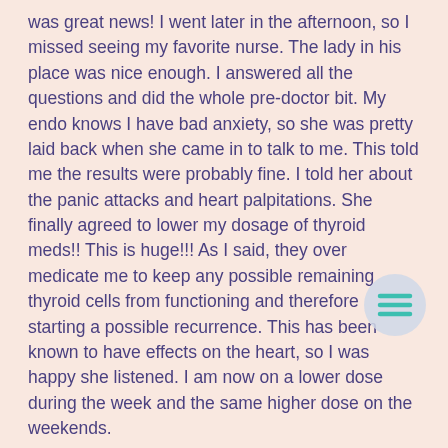was great news!  I went later in the afternoon, so I missed seeing my favorite nurse.  The lady in his place was nice enough.  I answered all the questions and did the whole pre-doctor bit.  My endo knows I have bad anxiety, so she was pretty laid back when she came in to talk to me.  This told me the results were probably fine.  I told her about the panic attacks and heart palpitations.  She finally agreed to lower my dosage of thyroid meds!!  This is huge!!!  As I said, they over medicate me to keep any possible remaining thyroid cells from functioning and therefore starting a possible recurrence.  This has been known to have effects on the heart, so I was happy she listened.  I am now on a lower dose during the week and the same higher dose on the weekends.
She went on to point out that my blood work results not messed up by the lab were exactly where we want them to be.  She asked about when I could take the thyroglobulin test.  When detectable, thyroglobulin can be a significant sign of recurrence of the cancer.  I told her I would get in to the lab the